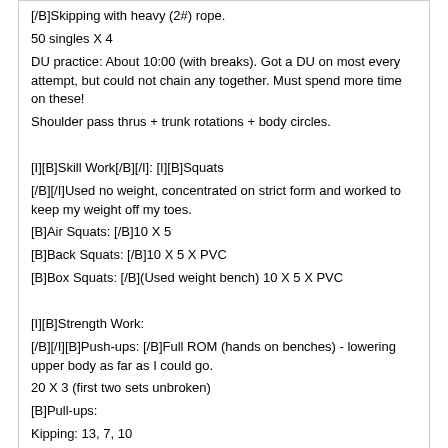[/B]Skipping with heavy (2#) rope.
50 singles X 4
DU practice: About 10:00 (with breaks). Got a DU on most every attempt, but could not chain any together. Must spend more time on these!
Shoulder pass thrus + trunk rotations + body circles.

[I][B]Skill Work[/B][/I]: [I][B]Squats
[/B][/I]Used no weight, concentrated on strict form and worked to keep my weight off my toes.
[B]Air Squats: [/B]10 X 5
[B]Back Squats: [/B]10 X 5 X PVC
[B]Box Squats: [/B](Used weight bench) 10 X 5 X PVC

[I][B]Strength Work:
[/B][/I][B]Push-ups: [/B]Full ROM (hands on benches) - lowering upper body as far as I could go.
20 X 3 (first two sets unbroken)
[B]Pull-ups:
Kipping: 13, 7, 10
Dead Hang: 6[/B]
Stephen R. Lampl
07-23-2009 10:07 PM
Re: Over 50 Crossfitters Sign In
Hey All:
[B]Tom B.; [/B]Welcome aboard... don't think I saw your original